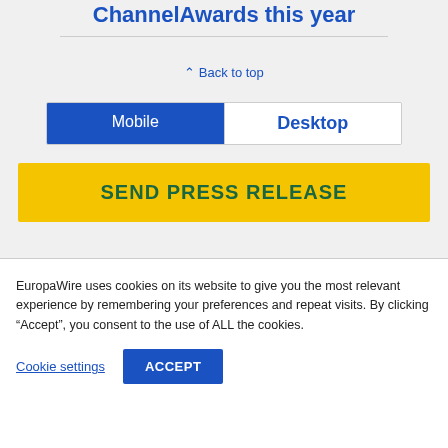ChannelAwards this year
Back to top
[Figure (other): Mobile/Desktop tab toggle with Mobile tab selected (blue) and Desktop tab unselected (white)]
[Figure (other): Yellow button with green bold text: SEND PRESS RELEASE]
EuropaWire uses cookies on its website to give you the most relevant experience by remembering your preferences and repeat visits. By clicking “Accept”, you consent to the use of ALL the cookies.
Cookie settings
ACCEPT